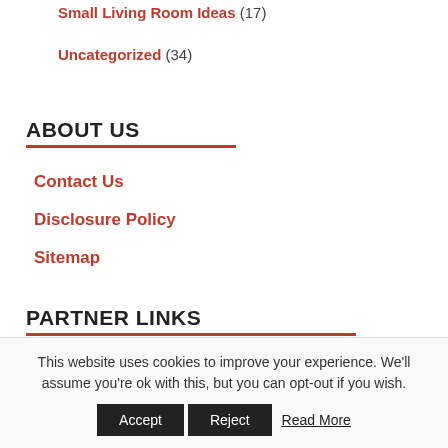Small Living Room Ideas (17)
Uncategorized (34)
ABOUT US
Contact Us
Disclosure Policy
Sitemap
PARTNER LINKS
This website uses cookies to improve your experience. We'll assume you're ok with this, but you can opt-out if you wish.
Accept  Reject  Read More